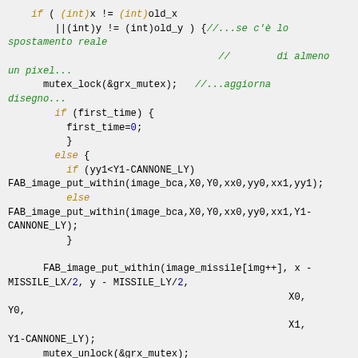[Figure (screenshot): Code snippet in C showing a conditional block with mutex locking, image drawing calls (FAB_image_put_within), and animation frame logic. Syntax highlighted with yellow/olive keywords, green comments, dark blue numbers, and black function names.]